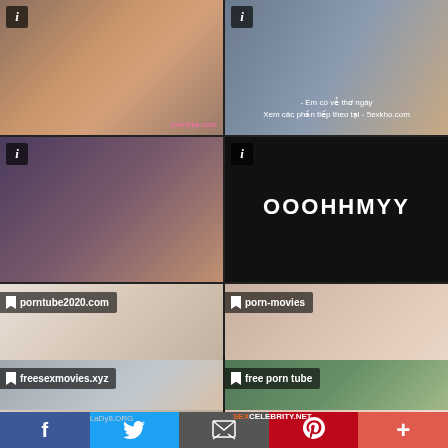[Figure (photo): Video thumbnail grid showing 6 adult video thumbnails in 2-column layout with info icons and watermarks]
[Figure (photo): Top right thumbnail with subtitle text: Em co ve tho ngay / Xem cac phan tiep theo tai - 5exkho.com]
[Figure (photo): Middle left thumbnail with i info icon]
[Figure (photo): Middle right thumbnail dark with OOOHHMYY text overlay]
[Figure (photo): Bottom left thumbnail with porntube2020.com watermark and LaDy8.ORG watermark]
[Figure (photo): Bottom right thumbnail with porn-movies watermark and SEXCELEBRITY.NET watermark]
[Figure (photo): Partial bottom left thumbnail with freesexmovies.xyz watermark]
[Figure (photo): Partial bottom right thumbnail with free porn tube watermark]
[Figure (infographic): Social share bar with Facebook, Twitter, Email, Pinterest, and plus buttons]